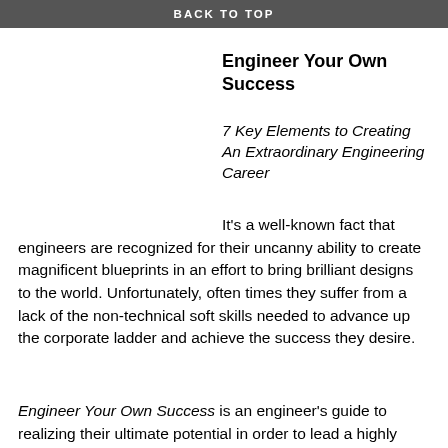BACK TO TOP
Engineer Your Own Success
7 Key Elements to Creating An Extraordinary Engineering Career
It’s a well-known fact that engineers are recognized for their uncanny ability to create magnificent blueprints in an effort to bring brilliant designs to the world. Unfortunately, often times they suffer from a lack of the non-technical soft skills needed to advance up the corporate ladder and achieve the success they desire.
Engineer Your Own Success is an engineer’s guide to realizing their ultimate potential in order to lead a highly